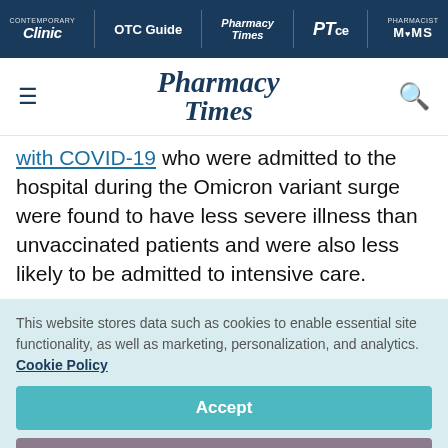Contemporary Clinic | OTC Guide | Pharmacy Times | PTce | Pharmacist MOMS
Pharmacy Times (logo header with search)
with COVID-19 who were admitted to the hospital during the Omicron variant surge were found to have less severe illness than unvaccinated patients and were also less likely to be admitted to intensive care.
This website stores data such as cookies to enable essential site functionality, as well as marketing, personalization, and analytics. Cookie Policy
Accept
Deny